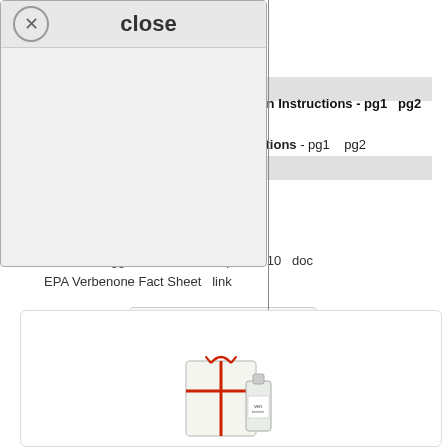close
acres.
▶ Price range
Detailed Verbenone Application Instructions - pg1   pg2
▶ Verbenone FAQ's
Manufacturer's:  pdf
RESOURCES:
FINAL Smuggler Verbenone Report 2010  doc
EPA Verbenone Fact Sheet  link
Sort by   Position
[Figure (photo): Product image showing verbenone product packaging at bottom of page]